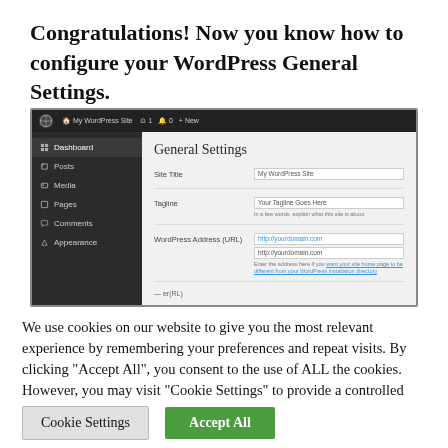Congratulations! Now you know how to configure your WordPress General Settings.
[Figure (screenshot): WordPress admin dashboard screenshot showing General Settings page with Site Title, Tagline, and WordPress Address (URL) fields in the dark-sidebar admin UI.]
We use cookies on our website to give you the most relevant experience by remembering your preferences and repeat visits. By clicking "Accept All", you consent to the use of ALL the cookies. However, you may visit "Cookie Settings" to provide a controlled consent.
Cookie Settings
Accept All